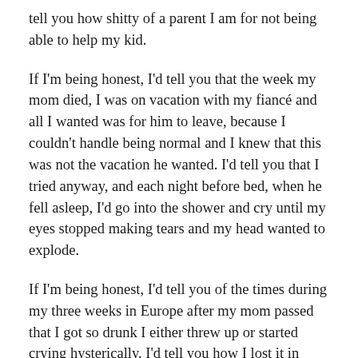tell you how shitty of a parent I am for not being able to help my kid.
If I'm being honest, I'd tell you that the week my mom died, I was on vacation with my fiancé and all I wanted was for him to leave, because I couldn't handle being normal and I knew that this was not the vacation he wanted. I'd tell you that I tried anyway, and each night before bed, when he fell asleep, I'd go into the shower and cry until my eyes stopped making tears and my head wanted to explode.
If I'm being honest, I'd tell you of the times during my three weeks in Europe after my mom passed that I got so drunk I either threw up or started crying hysterically. I'd tell you how I lost it in front of my mentor. I'd tell you how she found me standing in a windowsill daydreaming about walking the edge of the building across from me, wondering what it would feel like to fly for a moment and then fall. I'd tell you that I was holding a half full bottle of wine, one I was drinking straight from the bottle, and that when she asked me if I was okay, I let